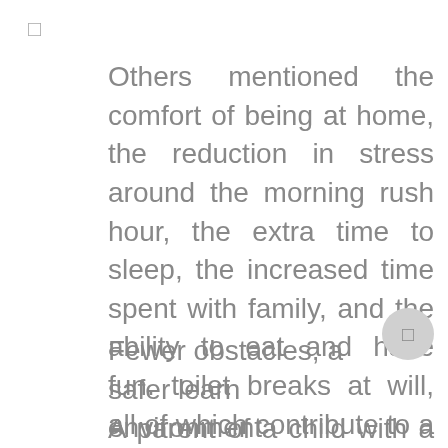□
Others mentioned the comfort of being at home, the reduction in stress around the morning rush hour, the extra time to sleep, the increased time spent with family, and the ability to eat and have fun. toilet breaks at will, all of which contribute to a more fruitful learning environment.
Fewer obstacles, a safer learning environment
A parent of a child with a physical